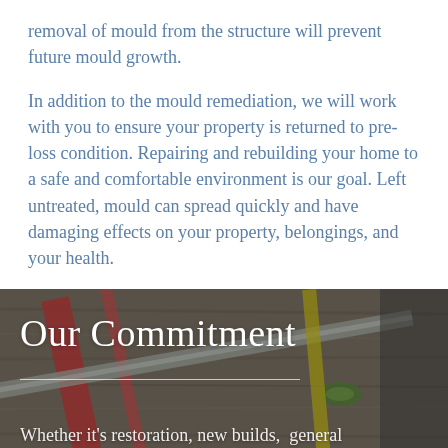removal of mould from the structure will prevent future mould growth.
In addition to the mould remediation, we will work with you to ensure your property is returned to pre-loss condition. Repairing and rebuilding your home to a safe and comfortable environment is our goal. Left untreated, mould can spread quickly and have damaging effects on your property, belongings, and your health.
[Figure (photo): Background photo of construction tools including a level, red clamps, pencils on a wooden surface, with overlay text 'Our Commitment' and a divider line, followed by partial text 'Whether it’s restoration, new builds, general contracting or anything in between our licensed and']
Our Commitment
Whether it’s restoration, new builds,  general contracting or anything in between our licensed and